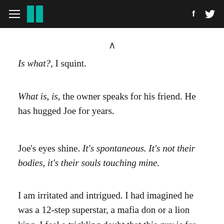HuffPost navigation header with logo, facebook and twitter icons
Is what?, I squint.
What is, is, the owner speaks for his friend. He has hugged Joe for years.
Joe's eyes shine. It's spontaneous. It's not their bodies, it's their souls touching mine.
I am irritated and intrigued. I had imagined he was a 12-step superstar, a mafia don or a lion king. I feel a trickling doubt that this guy is for real, and an increasingly urgent need to know